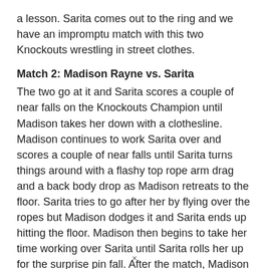a lesson. Sarita comes out to the ring and we have an impromptu match with this two Knockouts wrestling in street clothes.
Match 2: Madison Rayne vs. Sarita
The two go at it and Sarita scores a couple of near falls on the Knockouts Champion until Madison takes her down with a clothesline. Madison continues to work Sarita over and scores a couple of near falls until Sarita turns things around with a flashy top rope arm drag and a back body drop as Madison retreats to the floor. Sarita tries to go after her by flying over the ropes but Madison dodges it and Sarita ends up hitting the floor. Madison then begins to take her time working over Sarita until Sarita rolls her up for the surprise pin fall. After the match, Madison can't believe what just happened and yells at
×